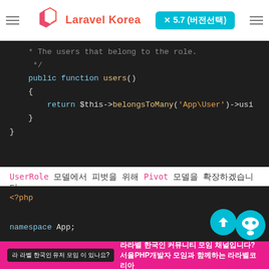Laravel Korea × 5.7 (버전선택)
[Figure (screenshot): PHP code block showing public function users() returning $this->belongsToMany('App\User')->usingPivot(...)]
UserRole 모델에서 피벗을 위해 Pivot 모델을 확장하겠습니다:
[Figure (screenshot): PHP code block showing: <?php namespace App; use Illuminate\Database\Eloquent\Relations\Pivot; class UserRole extends Pivot {]
라라벨 한국인 커뮤니티 모임 채널입니다? 서울PHP개발자 모임과 함께하는 라라벨코리아